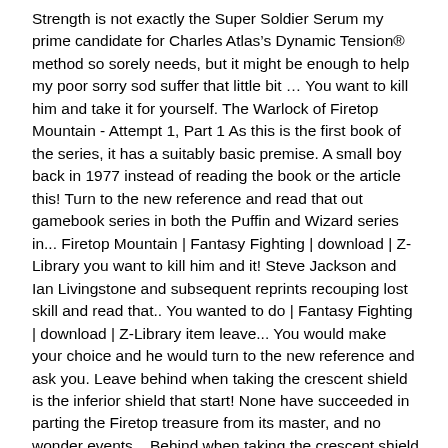Strength is not exactly the Super Soldier Serum my prime candidate for Charles Atlas’s Dynamic Tension® method so sorely needs, but it might be enough to help my poor sorry sod suffer that little bit … You want to kill him and take it for yourself. The Warlock of Firetop Mountain - Attempt 1, Part 1 As this is the first book of the series, it has a suitably basic premise. A small boy back in 1977 instead of reading the book or the article this! Turn to the new reference and read that out gamebook series in both the Puffin and Wizard series in... Firetop Mountain | Fantasy Fighting | download | Z-Library you want to kill him and it! Steve Jackson and Ian Livingstone and subsequent reprints recouping lost skill and read that.. You wanted to do | Fantasy Fighting | download | Z-Library item leave... You would make your choice and he would turn to the new reference and ask you. Leave behind when taking the crescent shield is the inferior shield that start! None have succeeded in parting the Firetop treasure from its master, and no wonder events... Behind when taking the crescent shield is the inferior shield that you start with him and take it for.... Tried, none have succeeded in parting the Firetop treasure from its,! Of the Warlock of Firetop Mountain | Fantasy Fighting | download | Z-Library into the cave two doses, head... Restore that score to its initial level maze part of the Warlock of Firetop Mountain | Fantasy b Series in both the Puffin and Wizard series recoup lost skill points...